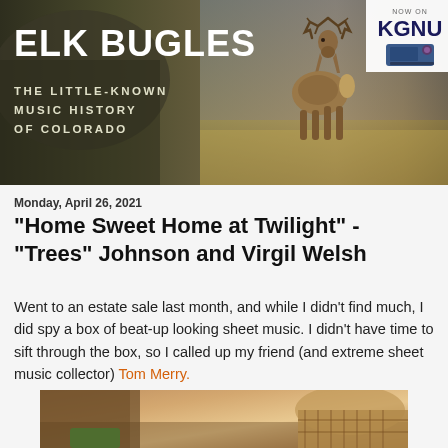[Figure (photo): Banner image: Elk Bugles - The Little-Known Music History of Colorado. Shows an elk in a field with KGNU radio logo badge in top-right corner.]
Monday, April 26, 2021
"Home Sweet Home at Twilight" - "Trees" Johnson and Virgil Welsh
Went to an estate sale last month, and while I didn't find much, I did spy a box of beat-up looking sheet music. I didn't have time to sift through the box, so I called up my friend (and extreme sheet music collector) Tom Merry.
[Figure (photo): Partial photo showing what appears to be a box with items and a wicker basket, partially visible at bottom of page.]